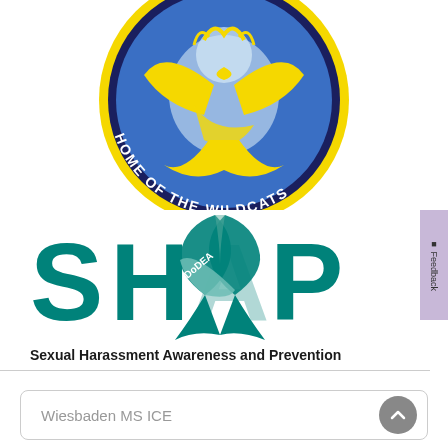[Figure (logo): Circular school logo with yellow wildcat/phoenix on blue background, text 'HOME OF THE WILDCATS' around the bottom, yellow border ring and dark navy outer ring]
[Figure (logo): DoDEA SHAP logo: bold teal text 'SHAP' with a teal awareness ribbon overlapping the text, and smaller text 'DoDEA' on the ribbon. Below: 'Sexual Harassment Awareness and Prevention']
Wiesbaden MS ICE